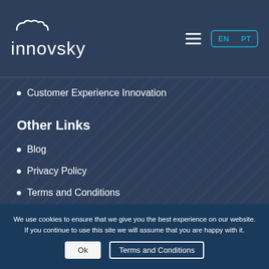innovsky | EN PT
Customer Experience Innovation
Other Links
Blog
Privacy Policy
Terms and Conditions
We use cookies to ensure that we give you the best experience on our website. If you continue to use this site we will assume that you are happy with it.
Ok
Terms and Conditions